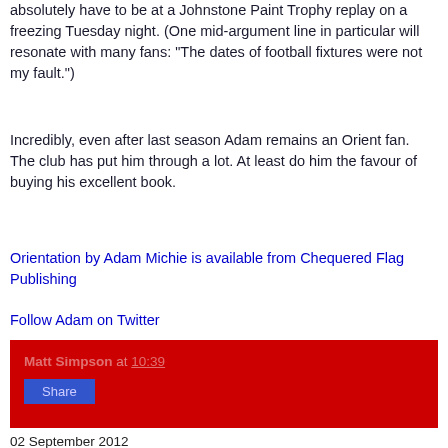absolutely have to be at a Johnstone Paint Trophy replay on a freezing Tuesday night. (One mid-argument line in particular will resonate with many fans: "The dates of football fixtures were not my fault.")
Incredibly, even after last season Adam remains an Orient fan. The club has put him through a lot. At least do him the favour of buying his excellent book.
Orientation by Adam Michie is available from Chequered Flag Publishing
Follow Adam on Twitter
Matt Simpson at 10:39
Share
02 September 2012
Crawley Town 1 Leyton Orient 0, 1/9/12